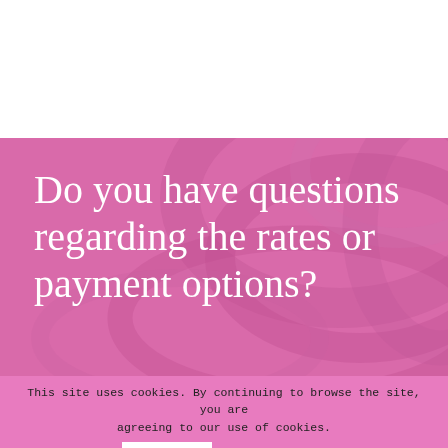[Figure (photo): White background top section of a webpage]
Do you have questions regarding the rates or payment options?
This site uses cookies. By continuing to browse the site, you are agreeing to our use of cookies.
OK   Learn more